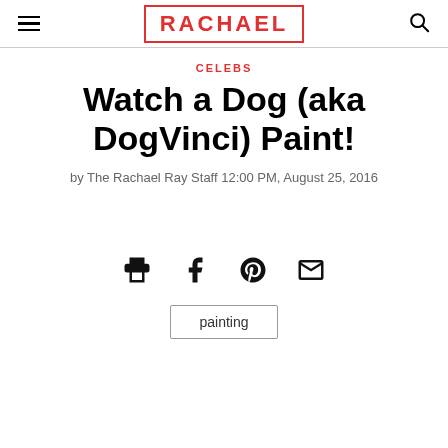RACHAEL
CELEBS
Watch a Dog (aka DogVinci) Paint!
by The Rachael Ray Staff 12:00 PM, August 25, 2016
[Figure (infographic): Social share icons: print, Facebook, Pinterest, email]
painting